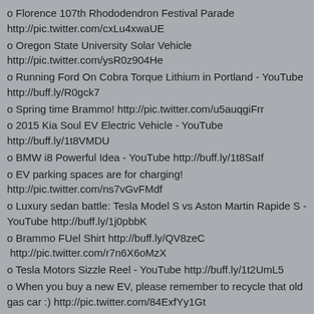o Florence 107th Rhododendron Festival Parade http://pic.twitter.com/cxLu4xwaUE
o Oregon State University Solar Vehicle http://pic.twitter.com/ysR0z904He
o Running Ford On Cobra Torque Lithium in Portland - YouTube http://buff.ly/R0gck7
o Spring time Brammo! http://pic.twitter.com/u5auqgiFrr
o 2015 Kia Soul EV Electric Vehicle - YouTube http://buff.ly/1t8VMDU
o BMW i8 Powerful Idea - YouTube http://buff.ly/1t8SaIf
o EV parking spaces are for charging! http://pic.twitter.com/ns7vGvFMdf
o Luxury sedan battle: Tesla Model S vs Aston Martin Rapide S - YouTube http://buff.ly/1j0pbbK
o Brammo FUel Shirt http://buff.ly/QV8zeC http://pic.twitter.com/r7n6X6oMzX
o Tesla Motors Sizzle Reel - YouTube http://buff.ly/1t2UmL5
o When you buy a new EV, please remember to recycle that old gas car :) http://pic.twitter.com/84ExfYy1Gt
o 10,000 gallons of oil spill onto LA streets [w/video] http://buff.ly/1sEqsLb
o Our pals in Seattle held their Spring EV Show at